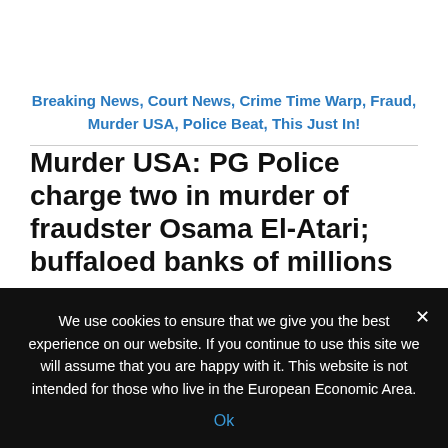Breaking News, Court News, Crime Time Warp, Fraud, Murder USA, Police Beat, This Just In!
Murder USA: PG Police charge two in murder of fraudster Osama El-Atari; buffaloed banks of millions
February 16, 2016
We use cookies to ensure that we give you the best experience on our website. If you continue to use this site we will assume that you are happy with it. This website is not intended for those who live in the European Economic Area.
Ok